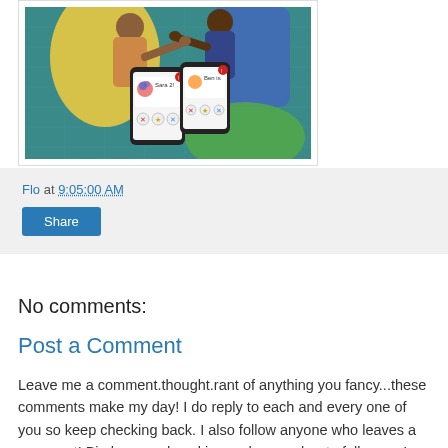[Figure (illustration): Cartoon illustration showing two people holding smartphones with dating app profiles visible on the screens, set against a teal background with grid lines.]
Flo at 9:05:00 AM
Share
No comments:
Post a Comment
Leave me a comment.thought.rant of anything you fancy...these comments make my day! I do reply to each and every one of you so keep checking back. I also follow anyone who leaves a comment! Big hugs and cookies and remember to follow me!